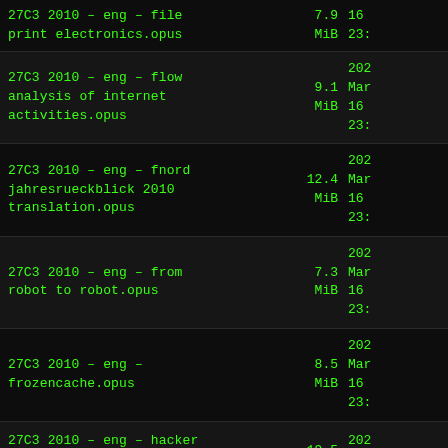27C3 2010 - eng - file print electronics.opus  7.9 MiB  Mar 16 23:
27C3 2010 - eng - flow analysis of internet activities.opus  9.1 MiB  202 Mar 16 23:
27C3 2010 - eng - fnord jahresrueckblick 2010 translation.opus  12.4 MiB  202 Mar 16 23:
27C3 2010 - eng - from robot to robot.opus  7.3 MiB  202 Mar 16 23:
27C3 2010 - eng - frozencache.opus  8.5 MiB  202 Mar 16 23:
27C3 2010 - eng - hacker jeopardy  19.5  202 Mar